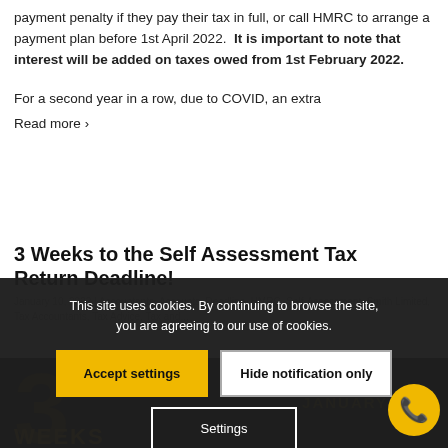payment penalty if they pay their tax in full, or call HMRC to arrange a payment plan before 1st April 2022.  It is important to note that interest will be added on taxes owed from 1st February 2022.
For a second year in a row, due to COVID, an extra
Read more ›
3 Weeks to the Self Assessment Tax Return Deadline!
January 10, 2022 | Accountants, Accounts, Deadline, HMRC, Self-Assessment, Smith Limited, Tax Accountants, Tax Advice, Tax and...
This site uses cookies. By continuing to browse the site, you are agreeing to our use of cookies.
Accept settings
Hide notification only
Settings
[Figure (illustration): Dark background image showing large number '3' and text 'WEEKS' in gold, with 'SELF ASSESSMENT RETURN DEADLINE JANUARY' text overlay. Part of an article banner image.]